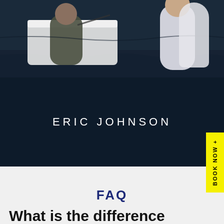[Figure (photo): Two people on a boat on dark water, one wearing white clothing on the right, one in dark camouflage pattern on the left]
ERIC JOHNSON
BOOK NOW +
FAQ
What is the difference in the offshore charters